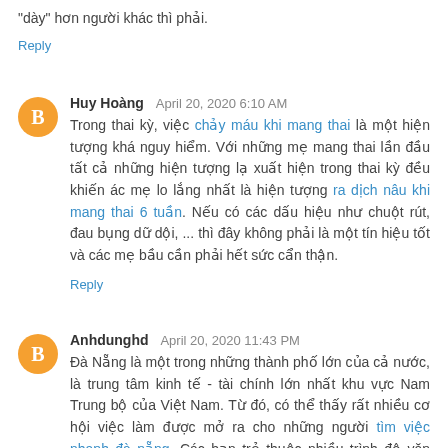"dày" hơn người khác thì phải.
Reply
Huy Hoàng  April 20, 2020 6:10 AM
Trong thai kỳ, việc chảy máu khi mang thai là một hiện tượng khá nguy hiểm. Với những mẹ mang thai lần đầu tất cả những hiện tượng lạ xuất hiện trong thai kỳ đều khiến ác mẹ lo lắng nhất là hiện tượng ra dịch nâu khi mang thai 6 tuần. Nếu có các dấu hiệu như chuột rút, đau bụng dữ dội, ... thì đây không phải là một tín hiệu tốt và các mẹ bầu cần phải hết sức cẩn thận.
Reply
Anhdunghd  April 20, 2020 11:43 PM
Đà Nẵng là một trong những thành phố lớn của cả nước, là trung tâm kinh tế - tài chính lớn nhất khu vực Nam Trung bộ của Việt Nam. Từ đó, có thể thấy rất nhiều cơ hội việc làm được mở ra cho những người tìm việc nhanh đà nẵng. Các bạn trẻ thuộc nhiều trình độ văn hóa khác nhau đều...